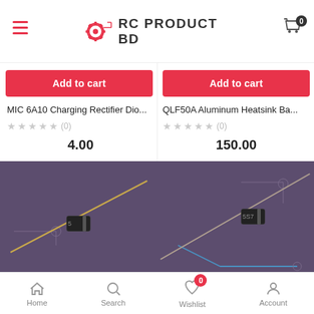RC PRODUCT BD
Add to cart
Add to cart
MIC 6A10 Charging Rectifier Dio...
QLF50A Aluminum Heatsink Ba...
(0)
(0)
4.00
150.00
[Figure (photo): Electronic component - diode with long leads on purple/dark background with circuit board outline]
[Figure (photo): Electronic component - diode with long leads on purple/dark background with circuit board outline]
Home  Search  Wishlist  Account